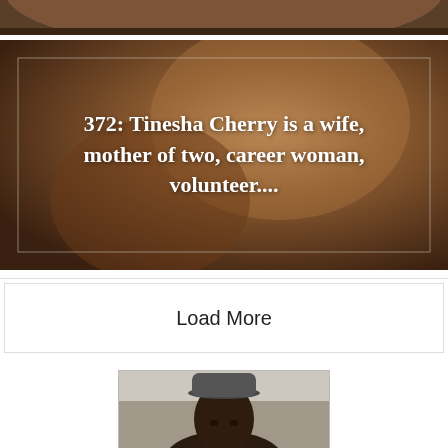[Figure (photo): Cropped top portion of a smiling woman's face, dark background, partial view]
[Figure (photo): Photo of a smiling woman used as background with overlay text box containing episode title]
372: Tinesha Cherry is a wife, mother of two, career woman, volunteer....
Load More
[Figure (photo): Photo of a man wearing a grey cap, partial view from bottom of page]